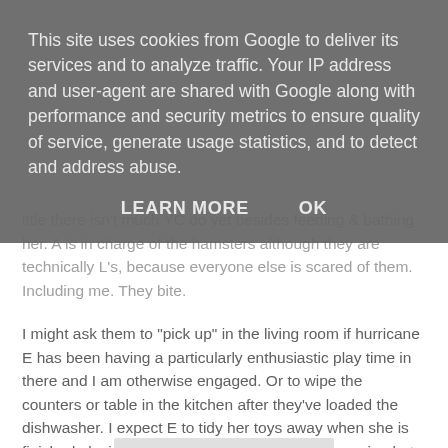This site uses cookies from Google to deliver its services and to analyze traffic. Your IP address and user-agent are shared with Google along with performance and security metrics to ensure quality of service, generate usage statistics, and to detect and address abuse.
LEARN MORE    OK
ittle there isn't much YC do yet besides feeding & bathing her. A is in charge of the hamsters although they are technically L's, because everyone else is scared of them. Including me. They bite.
I might ask them to "pick up" in the living room if hurricane E has been having a particularly enthusiastic play time in there and I am otherwise engaged. Or to wipe the counters or table in the kitchen after they've loaded the dishwasher. I expect E to tidy her toys away when she is finished playing, sometimes it takes some persuasion but mostly she is keen to help. This stage doesn't last forever, I am enjoying it for now.